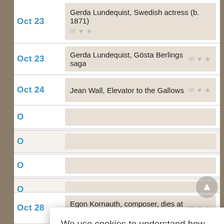Oct 23 — Gerda Lundequist, Swedish actress (b. 1871)
Oct 23 — Gerda Lundequist, Gösta Berlings saga
Oct 24 — Jean Wall, Elevator to the Gallows
We use cookies to understand how you use our site and to improve your experience. This includes personalizing content for you and for the display and tracking of advertising. By continuing to use our site, you accept and agree to our use of cookies. Privacy Policy
Oct 28 — Egon Kornauth, composer, dies at 68